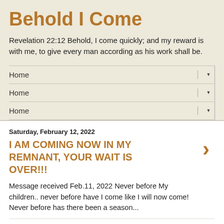Behold I Come
Revelation 22:12 Behold, I come quickly; and my reward is with me, to give every man according as his work shall be.
Home
Home
Home
Saturday, February 12, 2022
I AM COMING NOW IN MY REMNANT, YOUR WAIT IS OVER!!!
Message received Feb.11, 2022 Never before My children.. never before have I come like I will now come! Never before has there been a season...
Monday, January 3, 2022